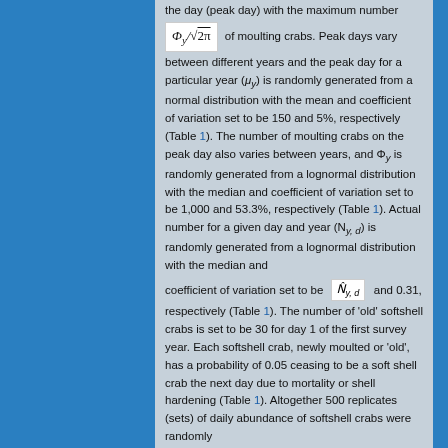the day (peak day) with the maximum number Φ_y/√(2π) of moulting crabs. Peak days vary between different years and the peak day for a particular year (μ_y) is randomly generated from a normal distribution with the mean and coefficient of variation set to be 150 and 5%, respectively (Table 1). The number of moulting crabs on the peak day also varies between years, and Φ_y is randomly generated from a lognormal distribution with the median and coefficient of variation set to be 1,000 and 53.3%, respectively (Table 1). Actual number for a given day and year (N_y,d) is randomly generated from a lognormal distribution with the median and coefficient of variation set to be N̂_y,d and 0.31, respectively (Table 1). The number of 'old' softshell crabs is set to be 30 for day 1 of the first survey year. Each softshell crab, newly moulted or 'old', has a probability of 0.05 ceasing to be a soft shell crab the next day due to mortality or shell hardening (Table 1). Altogether 500 replicates (sets) of daily abundance of softshell crabs were randomly